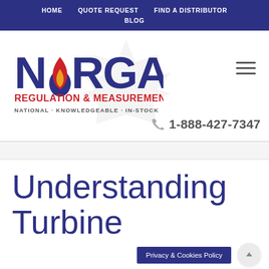HOME  QUOTE REQUEST  FIND A DISTRIBUTOR  BLOG
[Figure (logo): Norgas Regulation & Measurement logo with flame icon and maple leaf watermark. Text: NORGAS REGULATION & MEASUREMENT NATIONAL · KNOWLEDGEABLE · IN-STOCK]
☎ 1-888-427-7347
Understanding Turbine